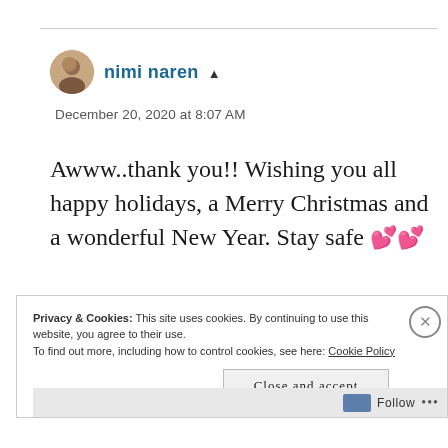nimi naren
December 20, 2020 at 8:07 AM
Awww..thank you!! Wishing you all happy holidays, a Merry Christmas and a wonderful New Year. Stay safe 💕💕
Privacy & Cookies: This site uses cookies. By continuing to use this website, you agree to their use. To find out more, including how to control cookies, see here: Cookie Policy
Close and accept